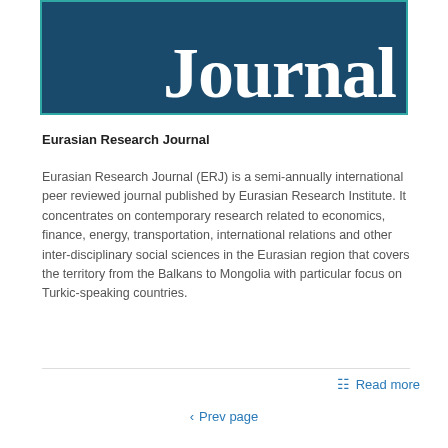[Figure (logo): Eurasian Research Journal logo banner with dark teal/navy background and large white serif 'Journal' text, teal border]
Eurasian Research Journal
Eurasian Research Journal (ERJ) is a semi-annually international peer reviewed journal published by Eurasian Research Institute. It concentrates on contemporary research related to economics, finance, energy, transportation, international relations and other inter-disciplinary social sciences in the Eurasian region that covers the territory from the Balkans to Mongolia with particular focus on Turkic-speaking countries.
Read more
< Prev page